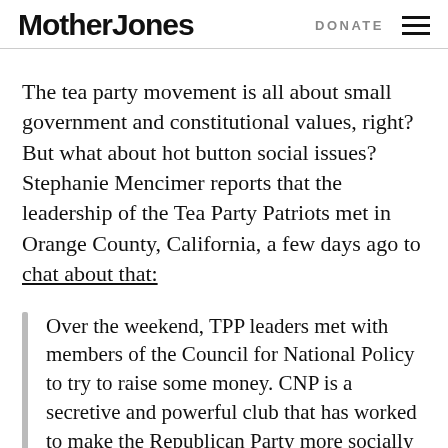Mother Jones | DONATE
The tea party movement is all about small government and constitutional values, right? But what about hot button social issues? Stephanie Mencimer reports that the leadership of the Tea Party Patriots met in Orange County, California, a few days ago to chat about that:
Over the weekend, TPP leaders met with members of the Council for National Policy to try to raise some money. CNP is a secretive and powerful club that has worked to make the Republican Party more socially conservative